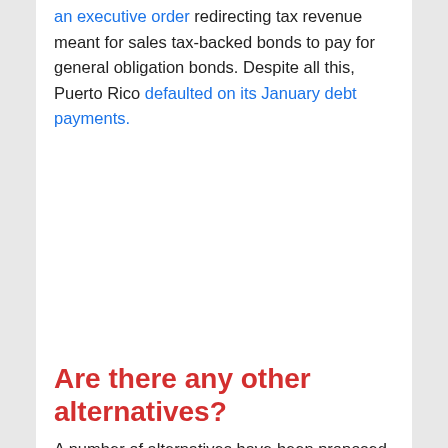an executive order redirecting tax revenue meant for sales tax-backed bonds to pay for general obligation bonds. Despite all this, Puerto Rico defaulted on its January debt payments.
Are there any other alternatives?
A number of alternatives have been proposed. Governor García Padilla and Resident